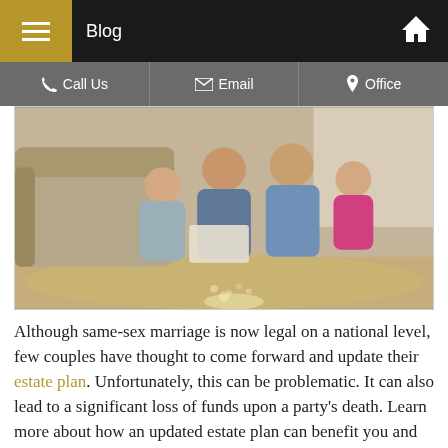Blog
[Figure (photo): Two men and two children (a boy and a girl) sitting on a shaggy rug on a living room floor, smiling and looking at a book or paper together. A grey sofa is visible behind them.]
Although same-sex marriage is now legal on a national level, few couples have thought to come forward and update their estate plan. Unfortunately, this can be problematic. It can also lead to a significant loss of funds upon a party's death. Learn more about how an updated estate plan can benefit you and